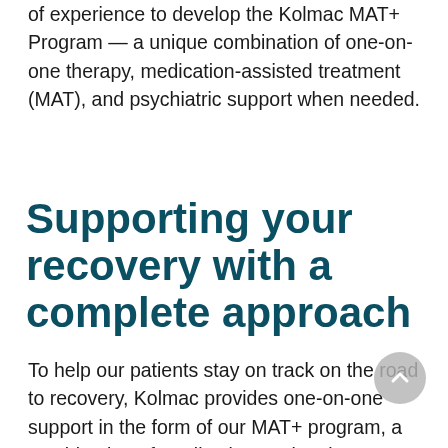of experience to develop the Kolmac MAT+ Program — a unique combination of one-on-one therapy, medication-assisted treatment (MAT), and psychiatric support when needed.
Supporting your recovery with a complete approach
To help our patients stay on track on the road to recovery, Kolmac provides one-on-one support in the form of our MAT+ program, a combination of medication-assisted treatment and psychiatric